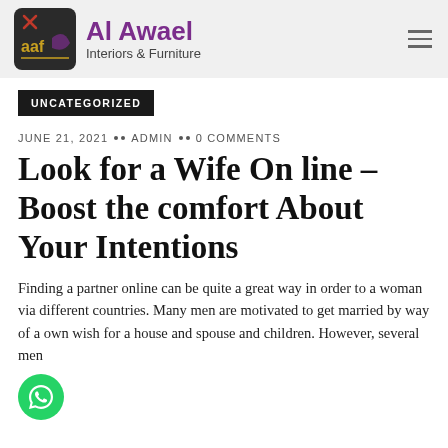Al Awael Interiors & Furniture
UNCATEGORIZED
JUNE 21, 2021 •• ADMIN •• 0 COMMENTS
Look for a Wife On line – Boost the comfort About Your Intentions
Finding a partner online can be quite a great way in order to a woman via different countries. Many men are motivated to get married by way of a own wish for a house and spouse and children. However, several men